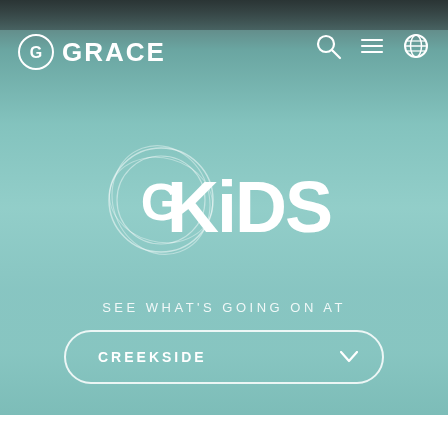[Figure (screenshot): Website screenshot of Grace Church GKiDS page with teal gradient background. Navigation bar at top with Grace logo (circle with G) and GRACE text, search icon, menu icon, and globe icon. Center shows GKiDS logo with circular swirl graphic and bold text. Below is tagline 'SEE WHAT'S GOING ON AT' and a pill-shaped dropdown button showing 'CREEKSIDE' with a chevron arrow.]